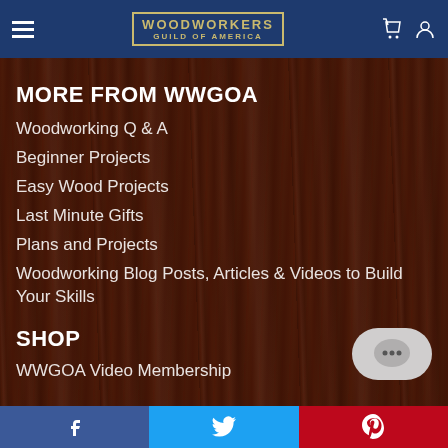WOODWORKERS GUILD OF AMERICA
MORE FROM WWGOA
Woodworking Q & A
Beginner Projects
Easy Wood Projects
Last Minute Gifts
Plans and Projects
Woodworking Blog Posts, Articles & Videos to Build Your Skills
SHOP
WWGOA Video Membership
Facebook  Twitter  Pinterest